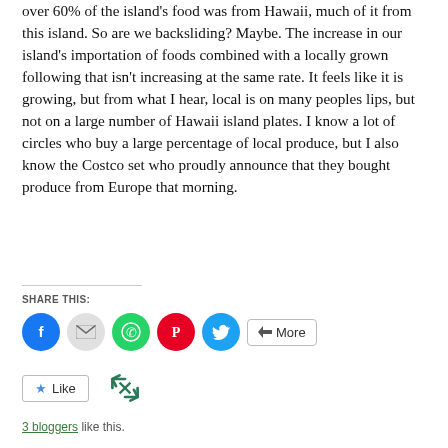over 60% of the island's food was from Hawaii, much of it from this island.  So are we backsliding?  Maybe.  The increase in our island's importation of foods combined with a locally grown following that isn't increasing at the same rate.  It feels like it is growing, but from what I hear, local is on many peoples lips, but not on a large number of Hawaii island plates.  I know a lot of circles who buy a large percentage of local produce, but I also know the Costco set who proudly announce that they bought produce from Europe that morning.
SHARE THIS:
[Figure (infographic): Social share buttons: Facebook (blue circle), Email (gray circle), WhatsApp (green circle), Pinterest (red circle), Twitter (blue circle), and a More button]
[Figure (infographic): Like button and reblog icon]
3 bloggers like this.